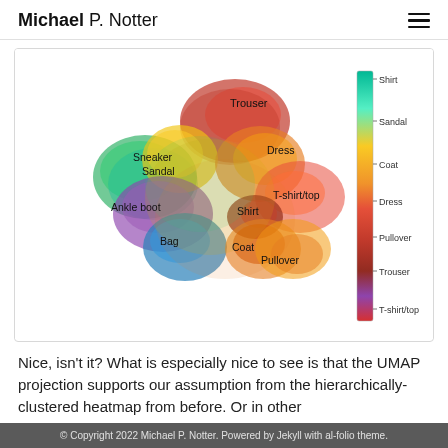Michael P. Notter
[Figure (scatter-plot): UMAP projection of Fashion-MNIST dataset showing clusters of clothing categories (Trouser, Sneaker, Sandal, Dress, T-shirt/top, Ankle boot, Shirt, Bag, Coat, Pullover) colored by category with a vertical colorbar legend on the right side ranging from Shirt (green/teal) to T-shirt/top (pink/magenta).]
Nice, isn't it? What is especially nice to see is that the UMAP projection supports our assumption from the hierarchically-clustered heatmap from before. Or in other
© Copyright 2022 Michael P. Notter. Powered by Jekyll with al-folio theme.